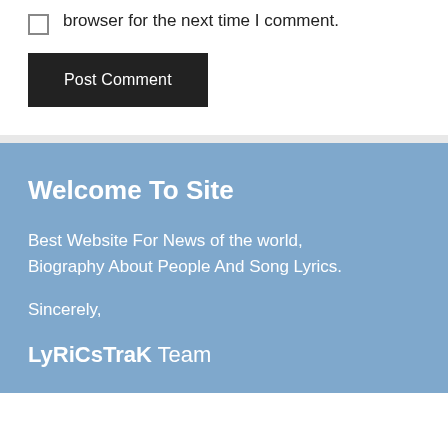browser for the next time I comment.
Post Comment
Welcome To Site
Best Website For News of the world, Biography About People And Song Lyrics.
Sincerely,
LyRiCsTraK Team